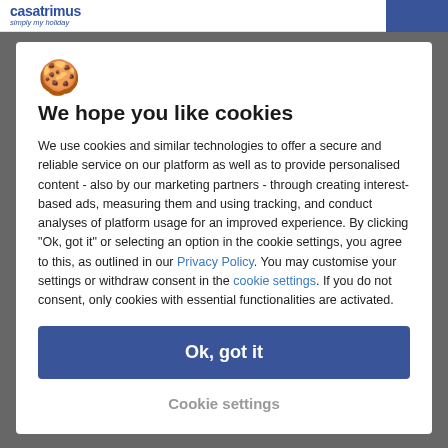casatrimus simply my holiday
[Figure (illustration): Cookie emoji icon (yellow cookie with chocolate chips)]
We hope you like cookies
We use cookies and similar technologies to offer a secure and reliable service on our platform as well as to provide personalised content - also by our marketing partners - through creating interest-based ads, measuring them and using tracking, and conduct analyses of platform usage for an improved experience. By clicking "Ok, got it" or selecting an option in the cookie settings, you agree to this, as outlined in our Privacy Policy. You may customise your settings or withdraw consent in the cookie settings. If you do not consent, only cookies with essential functionalities are activated.
Ok, got it
Cookie settings